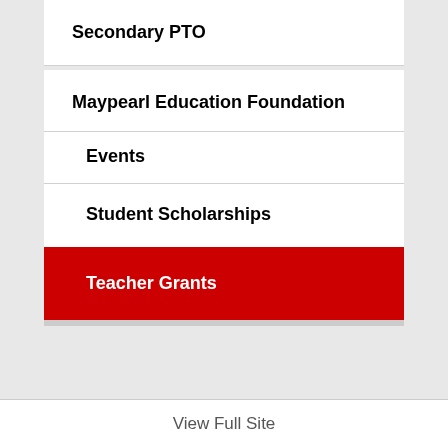Secondary PTO
Maypearl Education Foundation
Events
Student Scholarships
Teacher Grants
View Full Site